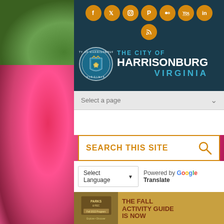[Figure (screenshot): City of Harrisonburg Virginia government website screenshot with social media icons, city seal and logo, navigation dropdown, search bar, language selector, and fall activity guide banner. Background shows pink flowers/coneflowers.]
THE CITY OF HARRISONBURG VIRGINIA
Select a page
SEARCH THIS SITE
Select Language  Powered by Google Translate
THE FALL ACTIVITY GUIDE IS NOW